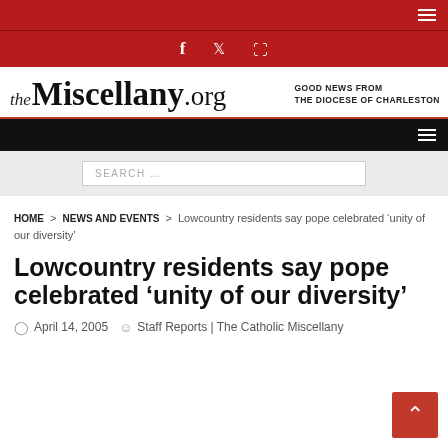the Miscellany.org — GOOD NEWS FROM THE DIOCESE OF CHARLESTON
[Figure (logo): The Miscellany.org website logo with tagline 'Good News From The Diocese of Charleston']
SEARCH …
HOME > NEWS AND EVENTS > Lowcountry residents say pope celebrated 'unity of our diversity'
Lowcountry residents say pope celebrated 'unity of our diversity'
April 14, 2005  Staff Reports | The Catholic Miscellany